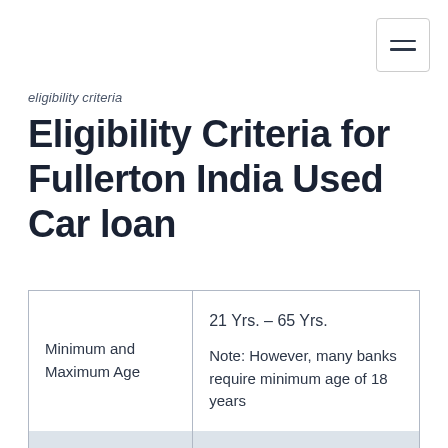≡
eligibility criteria
Eligibility Criteria for Fullerton India Used Car loan
|  |  |
| --- | --- |
| Minimum and Maximum Age | 21 Yrs. – 65 Yrs.

Note: However, many banks require minimum age of 18 years |
|  | • Upto Rs. 10 lakhs. So me banks give maxim |